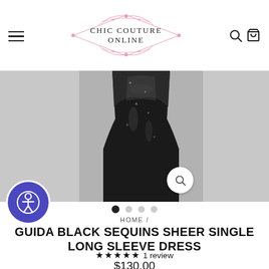Chic Couture Online
[Figure (photo): Product photo of a black sequins sheer single long sleeve dress, shown against a light grey background. The dress is dark/black with a sheer overlay. The center panel shows the dress and side panels are grey. A magnify search icon is visible.]
HOME /
GUIDA BLACK SEQUINS SHEER SINGLE LONG SLEEVE DRESS
★★★★★ 1 review
$130.00
or 4 interest-free payments of $32.50 with afterpay